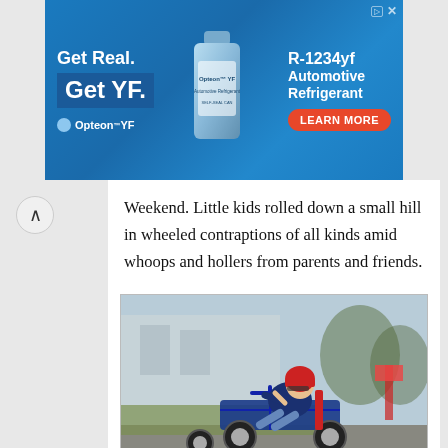[Figure (photo): Advertisement banner for Opteon YF R-1234yf Automotive Refrigerant with blue background, product bottle, and Learn More button]
Weekend. Little kids rolled down a small hill in wheeled contraptions of all kinds amid whoops and hollers from parents and friends.
[Figure (photo): A child wearing a red helmet riding a blue soap box derby cart on a road, with a blurred background showing houses and trees]
The Soap Box Derby in Buffalo, South Dakota, was a unique Labor Day event.